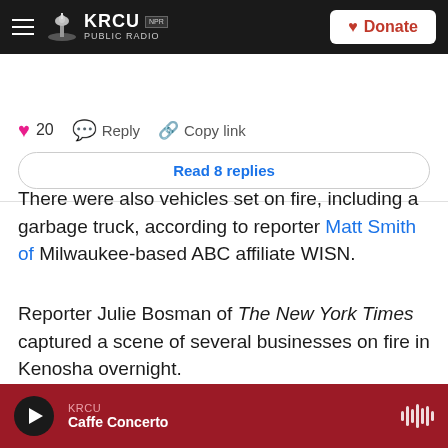KRCU NPR PUBLIC RADIO | Donate
[Figure (screenshot): Social media interaction bar with heart icon showing 20 likes, Reply button, Copy link button, and a 'Read 8 replies' button]
There were also vehicles set on fire, including a garbage truck, according to reporter Matt Smith of Milwaukee-based ABC affiliate WISN.
Reporter Julie Bosman of The New York Times captured a scene of several businesses on fire in Kenosha overnight.
KRCU — Caffe Concerto